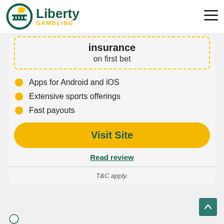[Figure (logo): Liberty Gambling logo with horse icon in green circle and Liberty GAMBLING text]
insurance on first bet
Apps for Android and iOS
Extensive sports offerings
Fast payouts
Visit Site
Read review
T&C apply.